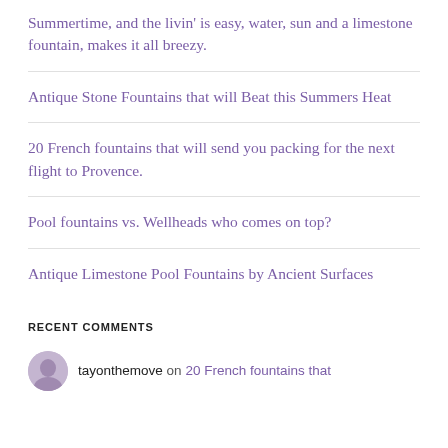Summertime, and the livin' is easy, water, sun and a limestone fountain, makes it all breezy.
Antique Stone Fountains that will Beat this Summers Heat
20 French fountains that will send you packing for the next flight to Provence.
Pool fountains vs. Wellheads who comes on top?
Antique Limestone Pool Fountains by Ancient Surfaces
RECENT COMMENTS
tayonthemove on 20 French fountains that